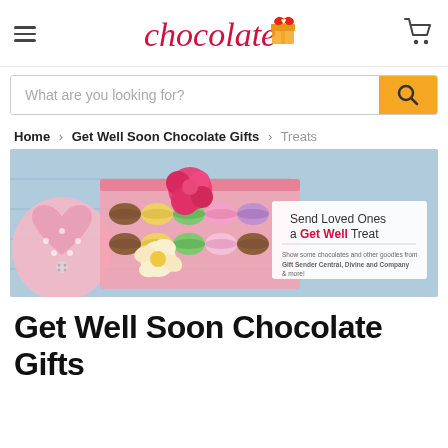chocolate (logo with gift icon)
What are you looking for?
Home > Get Well Soon Chocolate Gifts > Treats
[Figure (photo): Banner image showing a box of colorful macarons with flowers and a pink heart pillow on a wooden table. Overlay text reads: Send Loved Ones a Get Well Treat. Show some chocolates and other goodies from Gift Sender Central, Divine and Company & more!]
Get Well Soon Chocolate Gifts